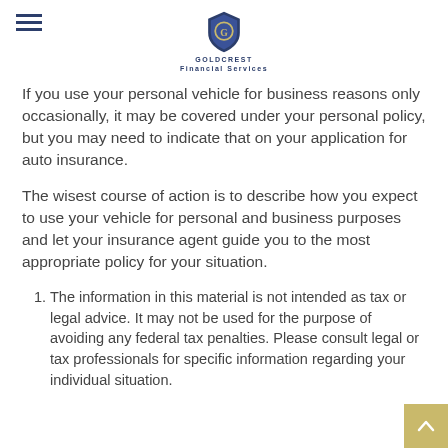GOLDCREST Financial Services
If you use your personal vehicle for business reasons only occasionally, it may be covered under your personal policy, but you may need to indicate that on your application for auto insurance.
The wisest course of action is to describe how you expect to use your vehicle for personal and business purposes and let your insurance agent guide you to the most appropriate policy for your situation.
The information in this material is not intended as tax or legal advice. It may not be used for the purpose of avoiding any federal tax penalties. Please consult legal or tax professionals for specific information regarding your individual situation.